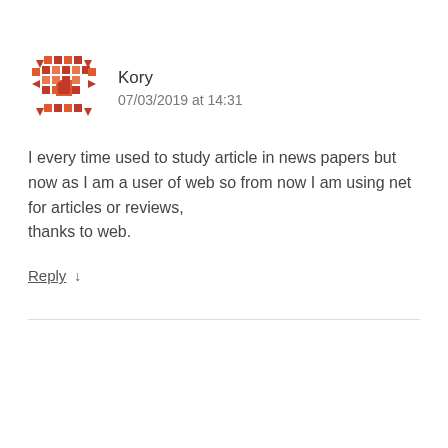[Figure (illustration): Geometric mosaic avatar icon in orange/red tones, pixel art style snowflake/diamond pattern]
Kory
07/03/2019 at 14:31
I every time used to study article in news papers but now as I am a user of web so from now I am using net for articles or reviews,
thanks to web.
Reply ↓